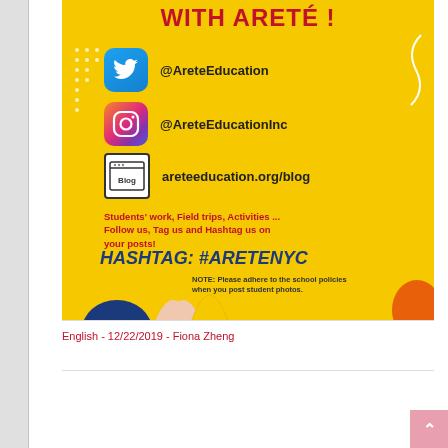[Figure (infographic): Yellow background social media promotional flyer for Areté Education. Shows title 'WITH ARETÉ!' in red, Twitter handle @AreteEducation, Instagram handle @AreteEducationInc, blog URL areteeducation.org/blog, tagline about students work field trips activities, hashtag #ARETENYC in bold blue italic, and note about school policies for student photos. Decorative shapes at bottom.]
English - 12/22/2019 - Fiona Zheng